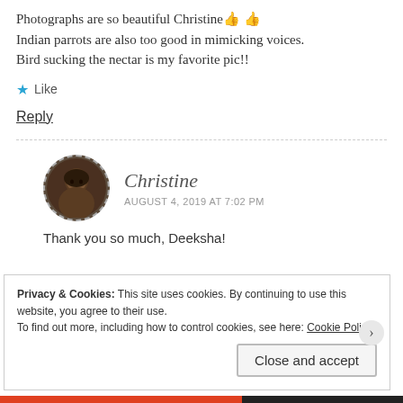Photographs are so beautiful Christine 🤙 🤙
Indian parrots are also too good in mimicking voices.
Bird sucking the nectar is my favorite pic!!
★ Like
Reply
Christine
AUGUST 4, 2019 AT 7:02 PM
Thank you so much, Deeksha!
Privacy & Cookies: This site uses cookies. By continuing to use this website, you agree to their use.
To find out more, including how to control cookies, see here: Cookie Policy
Close and accept